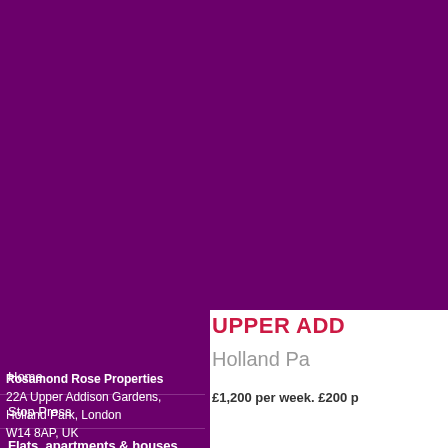Home
Stop Press
Flats, apartments & houses in London, England
Overseas properties
About our service
Terms & conditions
Contact and find us
Rosamond Rose Properties
22A Upper Addison Gardens,
Holland Park, London
W14 8AP, UK
UPPER ADD
Holland Pa
£1,200 per week. £200 pc